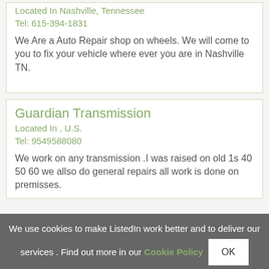Located In Nashville, Tennessee
Tel: 615-394-1831
We Are a Auto Repair shop on wheels. We will come to you to fix your vehicle where ever you are in Nashville TN.
Guardian Transmission
Located In , U.S.
Tel: 9549588080
We work on any transmission .I was raised on old 1s 40 50 60 we allso do general repairs all work is done on premisses.
We use cookies to make ListedIn work better and to deliver our services . Find out more in our Cookie Policy OK